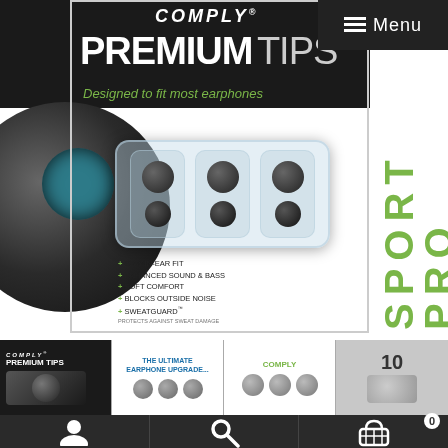[Figure (photo): Comply Premium Tips Sport Pro product box showing foam ear tips in a clear tray, with a large black foam ear tip in foreground. Box has white and black design with green SPORT PRO text on right side. Features list includes: STAY-IN-EAR FIT, ENHANCED SOUND & BASS, SOFT COMFORT, BLOCKS OUTSIDE NOISE, SWEATGUARD.]
[Figure (screenshot): Navigation menu bar in top-right with hamburger icon and 'Menu' text on dark background]
[Figure (photo): Thumbnail strip showing four product images: Comply Premium Tips box, earphone upgrade tips, sport tips, and a numbered pack]
[Figure (screenshot): Bottom navigation bar with user account icon, search icon, and shopping cart icon with badge showing 0]